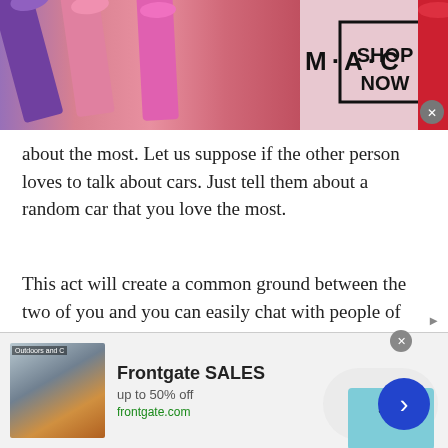[Figure (photo): MAC Cosmetics advertisement banner with lipsticks on left, MAC logo, SHOP NOW box, and red lipstick on right edge]
about the most. Let us suppose if the other person loves to talk about cars. Just tell them about a random car that you love the most.
This act will create a common ground between the two of you and you can easily chat with people of Malawi. There are not many people that love to talk about what you love. So, by simply praising them will help you both lead to a topic on which you can talk about. It is not necessary for you to be an auto geek for it. Just by sharing information and a good
[Figure (other): Frontgate SALES advertisement banner with outdoor furniture image, text 'Frontgate SALES up to 50% off frontgate.com', navigation arrow button]